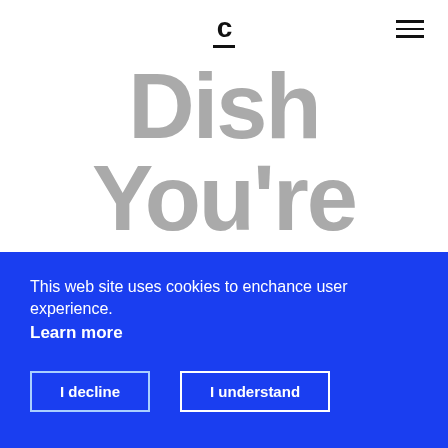C — [hamburger menu]
Dish You're Meant to Destroy
This web site uses cookies to enchance user experience. Learn more
I decline  I understand